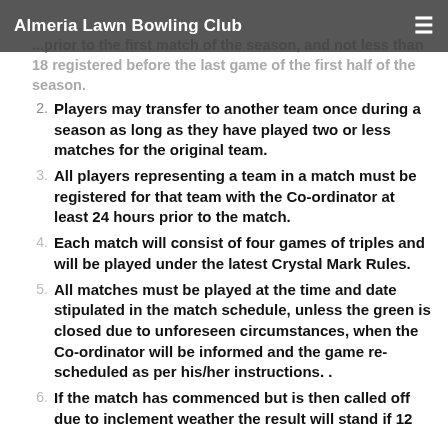Almeria Lawn Bowling Club
...prior to the first match of the season, and not less than 18 registered before the last game of the first half of the season.
Players may transfer to another team once during a season as long as they have played two or less matches for the original team.
All players representing a team in a match must be registered for that team with the Co-ordinator at least 24 hours prior to the match.
Each match will consist of four games of triples and will be played under the latest Crystal Mark Rules.
All matches must be played at the time and date stipulated in the match schedule, unless the green is closed due to unforeseen circumstances, when the Co-ordinator will be informed and the game re-scheduled as per his/her instructions. .
If the match has commenced but is then called off due to inclement weather the result will stand if 12